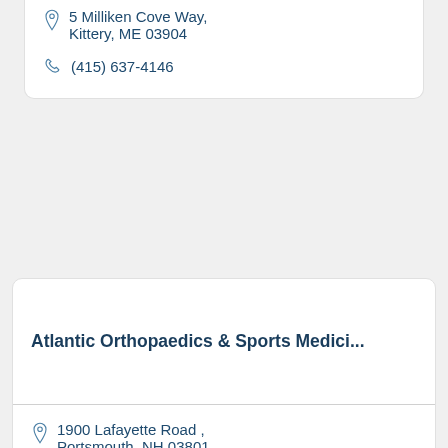5 Milliken Cove Way, Kittery, ME 03904
(415) 637-4146
Atlantic Orthopaedics & Sports Medici...
1900 Lafayette Road , Portsmouth, NH 03801
603-431-1121